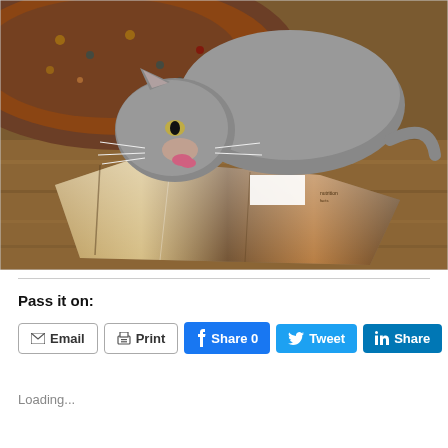[Figure (photo): A gray cat licking or eating from a shiny metallic/foil chip bag on a wooden floor, with a patterned rug visible in the background.]
Pass it on:
Email  Print  Share 0  Tweet  Share
Loading...